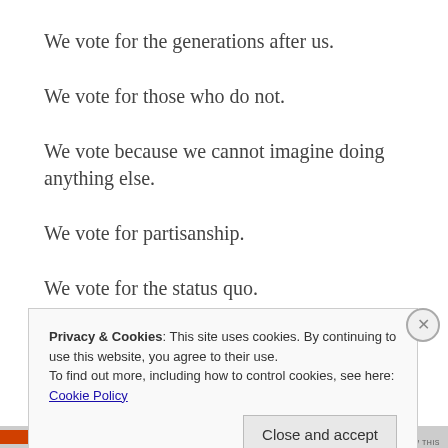We vote for the generations after us.
We vote for those who do not.
We vote because we cannot imagine doing anything else.
We vote for partisanship.
We vote for the status quo.
We vote for change.
Privacy & Cookies: This site uses cookies. By continuing to use this website, you agree to their use.
To find out more, including how to control cookies, see here: Cookie Policy